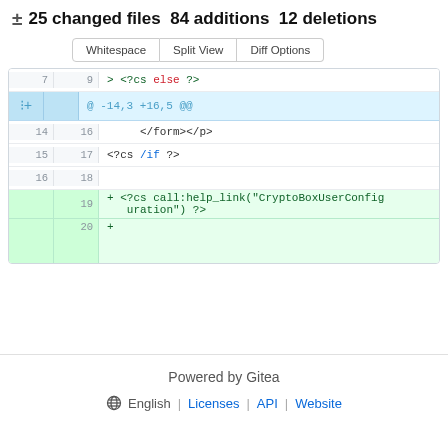± 25 changed files 84 additions 12 deletions
[Figure (screenshot): Git diff view with buttons: Whitespace, Split View, Diff Options. Shows code diff with line numbers and hunk headers. Added lines show <?cs call:help_link("CryptoBoxUserConfiguration") ?> and a blank added line.]
Powered by Gitea
English | Licenses | API | Website